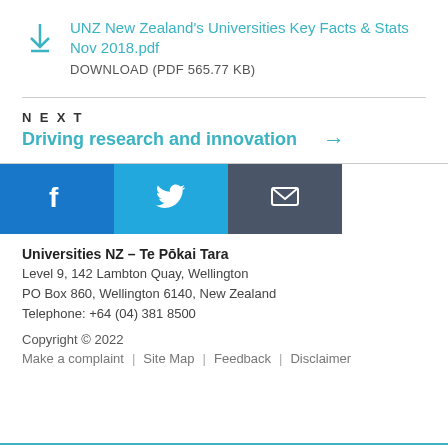UNZ New Zealand's Universities Key Facts & Stats Nov 2018.pdf
DOWNLOAD (PDF 565.77 KB)
NEXT
Driving research and innovation →
[Figure (infographic): Social media icon buttons: Facebook (blue), Twitter (light blue), Email (dark grey)]
Universities NZ – Te Pōkai Tara
Level 9, 142 Lambton Quay, Wellington
PO Box 860, Wellington 6140, New Zealand
Telephone: +64 (04) 381 8500
Copyright © 2022
Make a complaint | Site Map | Feedback | Disclaimer